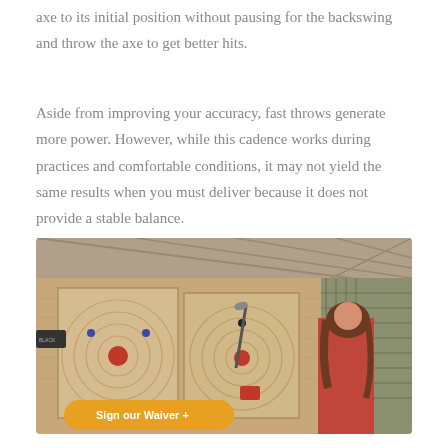axe to its initial position without pausing for the backswing and throw the axe to get better hits.
Aside from improving your accuracy, fast throws generate more power. However, while this cadence works during practices and comfortable conditions, it may not yield the same results when you must deliver because it does not provide a stable balance.
[Figure (photo): Indoor axe throwing venue showing two wooden plywood target boards with concentric circle targets marked with red centers and blue dots. An axe is embedded in one of the boards. A woman with brown hair in a red flannel shirt is visible on the right side in throwing stance. A yellow 'Sign our Waiver +' button overlay appears at the bottom left of the image.]